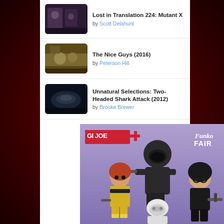Lost in Translation 224: Mutant X by Scott Delahunt
The Nice Guys (2016) by Peterson Hill
Unnatural Selections: Two-Headed Shark Attack (2012) by Brooke Brewer
[Figure (photo): G.I. Joe Funko Fair promotional image showing four Funko Pop figures: a red-haired female figure in yellow suit, a black-armored soldier with helmet, a white-masked figure, and a dark-haired female figure with glasses and weapon. G.I. Joe logo on left, Funko Fair logo on right. Purple gradient background.]